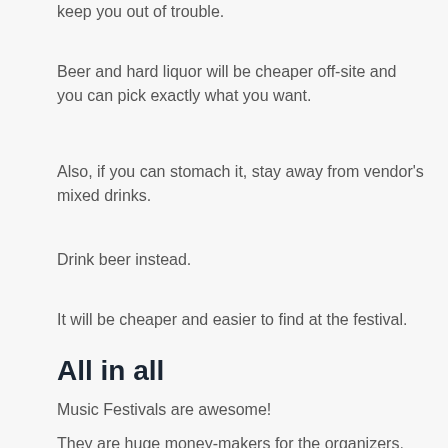keep you out of trouble.
Beer and hard liquor will be cheaper off-site and you can pick exactly what you want.
Also, if you can stomach it, stay away from vendor's mixed drinks.
Drink beer instead.
It will be cheaper and easier to find at the festival.
All in all
Music Festivals are awesome!
They are huge money-makers for the organizers. Ticket sales alone add up to $20-25 million each year.